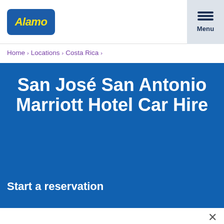[Figure (logo): Alamo car rental logo — blue rounded rectangle with yellow italic text 'Alamo']
Menu
Home › Locations › Costa Rica ›
San José San Antonio Marriott Hotel Car Hire
Start a reservation
We use cookies and web beacons to collect information to remember your preferences, improve your experience and tailor advertisements relevant to you. You can change your cookie and AdChoices settings at any time.
Update Your Ad Choices
More Information